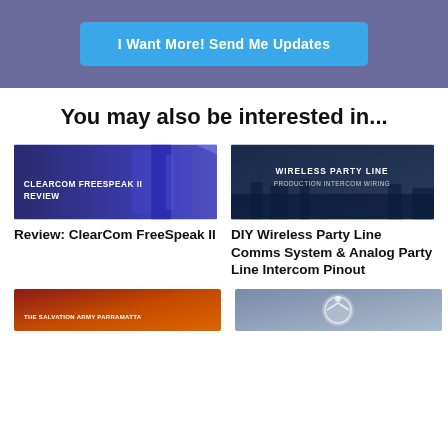[Figure (screenshot): Blue/purple banner background with a bright blue button labeled 'I Want More! Send Me Updates']
You may also be interested in...
[Figure (photo): ClearCom FreeSpeak II Review thumbnail - blue lit equipment with text overlay]
Review: ClearCom FreeSpeak II
[Figure (photo): Wireless Party Line Production Intercom Wiring thumbnail - dark blue with text overlay]
DIY Wireless Party Line Comms System & Analog Party Line Intercom Pinout
[Figure (photo): The Salvation Army Parramatta thumbnail - partial view at bottom]
[Figure (photo): Another thumbnail partially visible at bottom right]